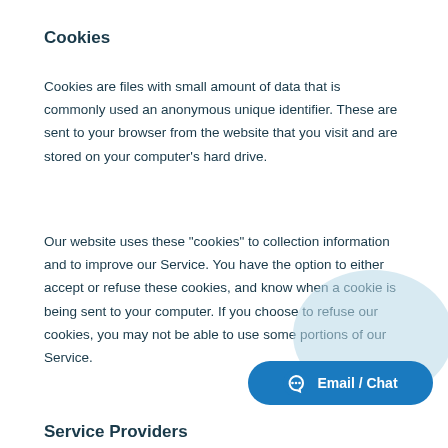Cookies
Cookies are files with small amount of data that is commonly used an anonymous unique identifier. These are sent to your browser from the website that you visit and are stored on your computer’s hard drive.
Our website uses these "cookies" to collection information and to improve our Service. You have the option to either accept or refuse these cookies, and know when a cookie is being sent to your computer. If you choose to refuse our cookies, you may not be able to use some portions of our Service.
Service Providers
[Figure (other): Email / Chat button with speech bubble icon overlaid on a light blue circular background]